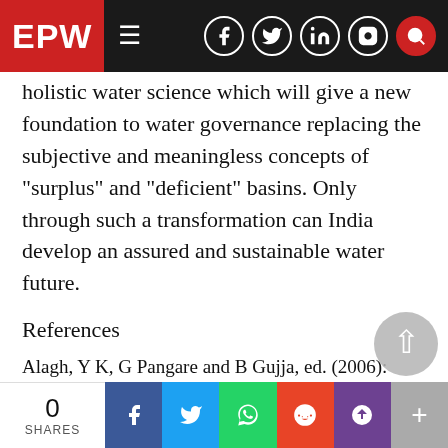EPW | Navigation bar with social icons
holistic water science which will give a new foundation to water governance replacing the subjective and meaningless concepts of “surplus” and “deficient” basins. Only through such a transformation can India develop an assured and sustainable water future.
References
Alagh, Y K, G Pangare and B Gujja, ed. (2006): Interlinking of Rivers in India: Overview and Ken Betwa Link (New Delhi: Academic Foundation).
Bandyopadhyay, J (2007): Water, Ecosystems and Society: A Confluence of Disciplines (New De…
0 SHARES | Social share buttons: Facebook, Twitter, WhatsApp, Reddit, Pocket, More